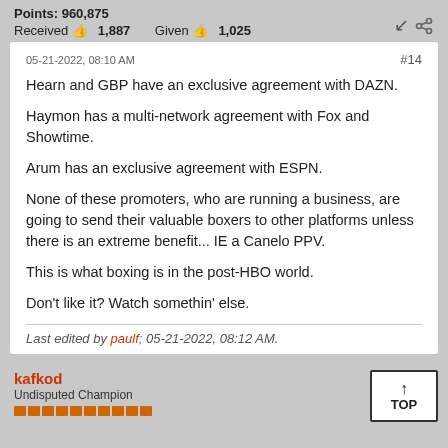Points: 960,875
Received 1,887   Given 1,025
05-21-2022, 08:10 AM   #14
Hearn and GBP have an exclusive agreement with DAZN.

Haymon has a multi-network agreement with Fox and Showtime.

Arum has an exclusive agreement with ESPN.

None of these promoters, who are running a business, are going to send their valuable boxers to other platforms unless there is an extreme benefit... IE a Canelo PPV.

This is what boxing is in the post-HBO world.

Don't like it? Watch somethin' else.
Last edited by paulf; 05-21-2022, 08:12 AM.
kafkod
Undisputed Champion